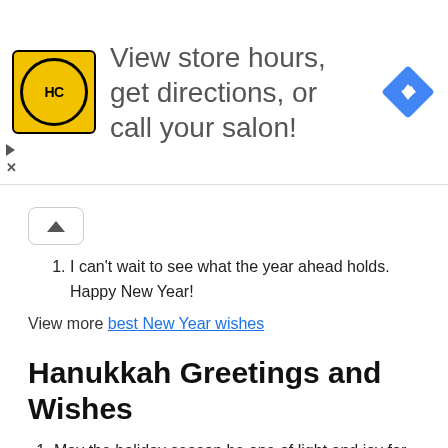[Figure (other): Advertisement banner with HC salon logo, text 'View store hours, get directions, or call your salon!' and a blue navigation diamond icon]
I can't wait to see what the year ahead holds. Happy New Year!
View more best New Year wishes
Hanukkah Greetings and Wishes
May the holiday season be one of light and joy for you and your family. Happy Hanukkah!
Happy Hanukkah! May you spend it surrounded by endless warmth, love, and light.
Wishing you a blessed, bright, and happy Hanukkah!
Wishing you a wonderful Festival of Lights — Happy